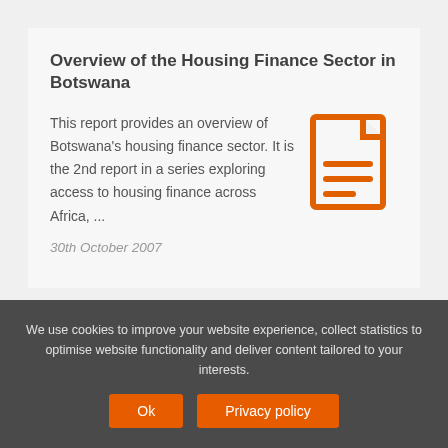Overview of the Housing Finance Sector in Botswana
This report provides an overview of Botswana's housing finance sector.  It is the 2nd report in a series exploring access to housing finance across Africa, ...
[Figure (illustration): Orange document/report icon with lines representing text on a page]
30th October 2007
We use cookies to improve your website experience, collect statistics to optimise website functionality and deliver content tailored to your interests.